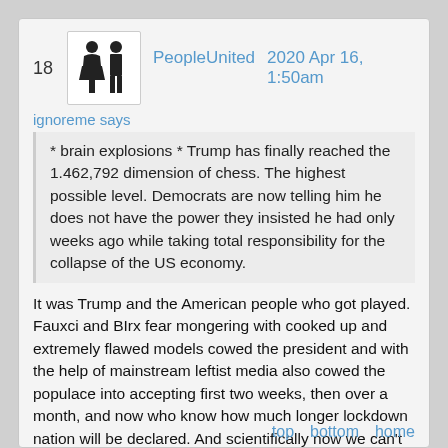18  PeopleUnited  2020 Apr 16, 1:50am
ignoreme says
* brain explosions * Trump has finally reached the 1.462,792 dimension of chess. The highest possible level. Democrats are now telling him he does not have the power they insisted he had only weeks ago while taking total responsibility for the collapse of the US economy.
It was Trump and the American people who got played. Fauxci and BIrx fear mongering with cooked up and extremely flawed models cowed the president and with the help of mainstream leftist media also cowed the populace into accepting first two weeks, then over a month, and now who know how much longer lockdown nation will be declared. And scientifically now we can't prove anything, they will claim that extreme social distancing worked because millions did not die Sweden, no closures, no massive death toll. W
top  bottom  home